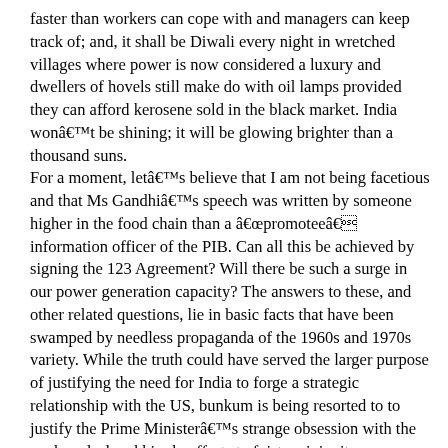faster than workers can cope with and managers can keep track of; and, it shall be Diwali every night in wretched villages where power is now considered a luxury and dwellers of hovels still make do with oil lamps provided they can afford kerosene sold in the black market. India wonât be shining; it will be glowing brighter than a thousand suns.
For a moment, letâs believe that I am not being facetious and that Ms Gandhiâs speech was written by someone higher in the food chain than a âpromoteeâ information officer of the PIB. Can all this be achieved by signing the 123 Agreement? Will there be such a surge in our power generation capacity? The answers to these, and other related questions, lie in basic facts that have been swamped by needless propaganda of the 1960s and 1970s variety. While the truth could have served the larger purpose of justifying the need for India to forge a strategic relationship with the US, bunkum is being resorted to to justify the Prime Ministerâs strange obsession with the nuclear deal and his sly efforts to foist an iniquitous agreement on the nation. Bogus claims are being made to fool the people into believing that a bright future awaits them, never mind the subjugation of Indiaâs strategic interests to those of America and the business interests of American firms.
So, here are some basic facts that should help realise the stupendous folly into which we are being led by a Prime Minister desperate to keep his commitment to the Americans before both